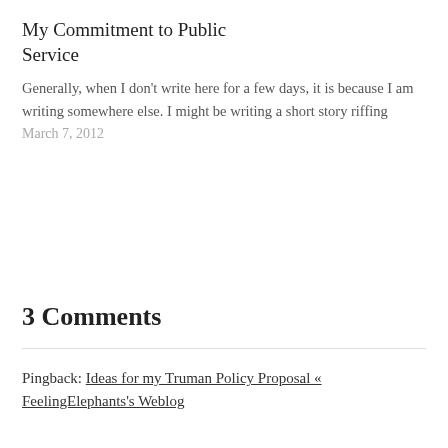My Commitment to Public Service
Generally, when I don't write here for a few days, it is because I am writing somewhere else. I might be writing a short story riffing
March 7, 2012
3 Comments
Pingback: Ideas for my Truman Policy Proposal « FeelingElephants's Weblog